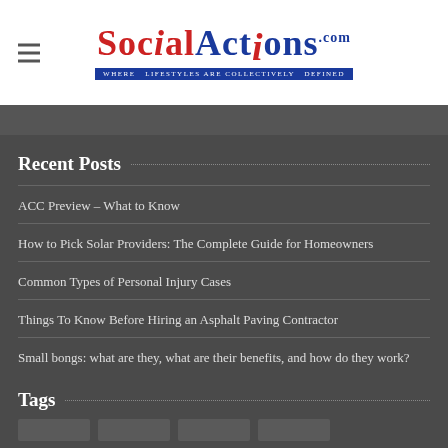[Figure (logo): SocialActions.com logo with red and blue text and tagline 'Where Lifestyles Are Collectively Defined']
Recent Posts
ACC Preview – What to Know
How to Pick Solar Providers: The Complete Guide for Homeowners
Common Types of Personal Injury Cases
Things To Know Before Hiring an Asphalt Paving Contractor
Small bongs: what are they, what are their benefits, and how do they work?
Tags